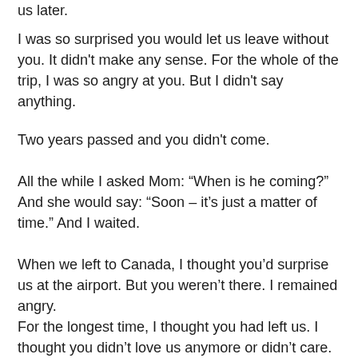us later.
I was so surprised you would let us leave without you. It didn't make any sense. For the whole of the trip, I was so angry at you. But I didn't say anything.
Two years passed and you didn't come.
All the while I asked Mom: “When is he coming?” And she would say: “Soon – it’s just a matter of time.” And I waited.
When we left to Canada, I thought you’d surprise us at the airport. But you weren’t there. I remained angry.
For the longest time, I thought you had left us. I thought you didn’t love us anymore or didn’t care.